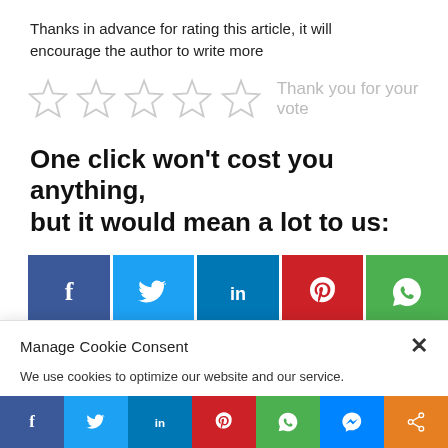Thanks in advance for rating this article, it will encourage the author to write more
[Figure (infographic): Five empty star rating icons followed by 'Thank you for your vote' in gray]
One click won't cost you anything, but it would mean a lot to us:
[Figure (infographic): Social media share buttons grid: Facebook, Twitter, LinkedIn, Pinterest, WhatsApp in top row; Telegram, Messenger, Share in second row]
Manage Cookie Consent
We use cookies to optimize our website and our service.
Accept
[Figure (infographic): Bottom social sharing bar with Facebook, Twitter, LinkedIn, Pinterest, WhatsApp, Messenger, Share buttons]